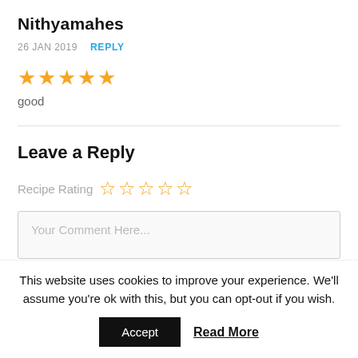Nithyamahes
26 JAN 2019   REPLY
[Figure (other): 5 filled orange star rating icons]
good
Leave a Reply
Recipe Rating (5 empty star icons)
Your Comment Here...
This website uses cookies to improve your experience. We'll assume you're ok with this, but you can opt-out if you wish.
Accept   Read More